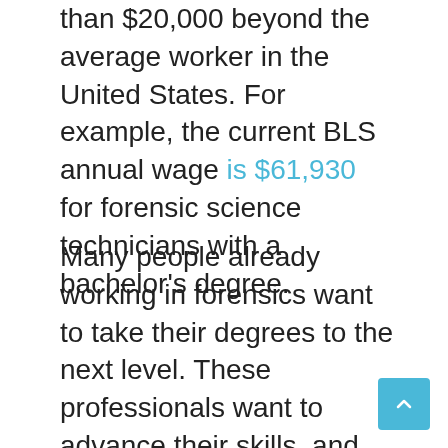than $20,000 beyond the average worker in the United States. For example, the current BLS annual wage is $61,930 for forensic science technicians with a bachelor's degree.
Many people already working in forensics want to take their degrees to the next level. These professionals want to advance their skills, and income possibilities, and also have a more significant impact on the field. So, with an online forensic science degree, the salary will be more.